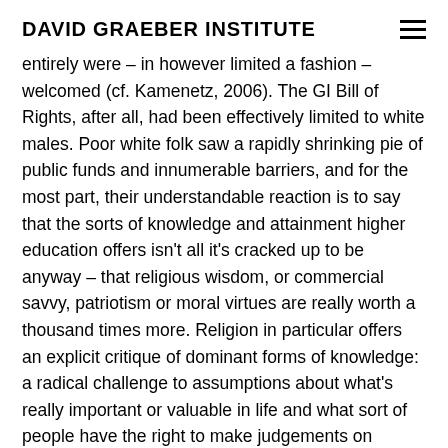DAVID GRAEBER INSTITUTE
entirely were – in however limited a fashion – welcomed (cf. Kamenetz, 2006). The GI Bill of Rights, after all, had been effectively limited to white males. Poor white folk saw a rapidly shrinking pie of public funds and innumerable barriers, and for the most part, their understandable reaction is to say that the sorts of knowledge and attainment higher education offers isn't all it's cracked up to be anyway – that religious wisdom, or commercial savvy, patriotism or moral virtues are really worth a thousand times more. Religion in particular offers an explicit critique of dominant forms of knowledge: a radical challenge to assumptions about what's really important or valuable in life and what sort of people have the right to make judgements on